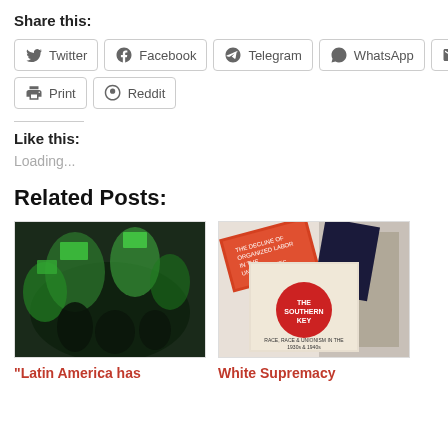Share this:
Twitter  Facebook  Telegram  WhatsApp  Email
Print  Reddit
Like this:
Loading...
Related Posts:
[Figure (photo): People waving green flags at a nighttime rally or protest]
“Latin America has
[Figure (photo): Books stacked including 'The Southern Key' and other labor/history books]
White Supremacy